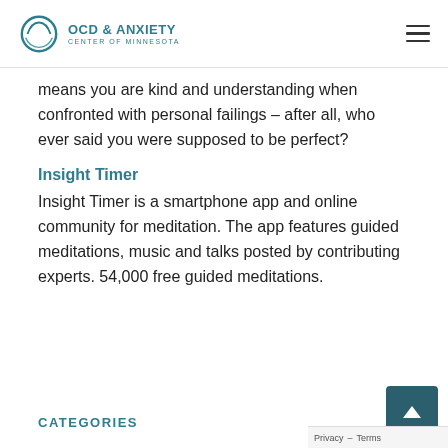OCD & ANXIETY CENTER OF MINNESOTA
means you are kind and understanding when confronted with personal failings – after all, who ever said you were supposed to be perfect?
Insight Timer
Insight Timer is a smartphone app and online community for meditation. The app features guided meditations, music and talks posted by contributing experts. 54,000 free guided meditations.
CATEGORIES